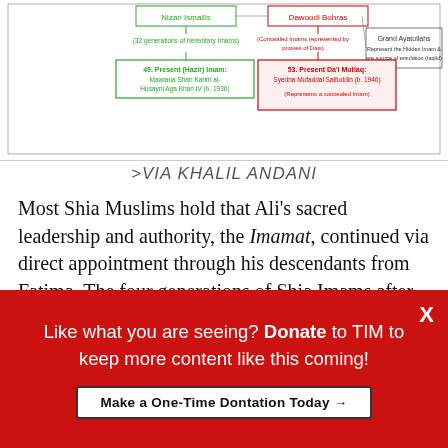[Figure (flowchart): Partial flowchart showing Shia Ismaili and Dawoodi Bohra lineage branches with boxes for Nizari Ismailis, Dawoodi Bohras, 49th Present (Hazir) Imam Mawlana Shah Karim al-Husayni Aga Khan IV (b. 1936), 53rd Present Da'i Mutlaq Syedna Mufaddal Saifuddin (b. 1946), Grand Ayatollahs, and related connecting lines]
>VIA KHALIL ANDANI
Most Shia Muslims hold that Ali’s sacred leadership and authority, the Imamat, continued via direct appointment through his descendants from Fatima. The four generations of Shia Imams after Ali were his sons al-Hasan and al-Husayn, Ali Zayn al-Abidin, Muhammad al-Baqir and Ja‘far al-Sadiq. The latter two Imams are also renowned in the Sunni tradition as narrators and legal scholars who instructed Abu Hanifah and
Like what you are seeing? Donate to TIM to keep more content like this coming!
Make a One-Time Dontation Today →